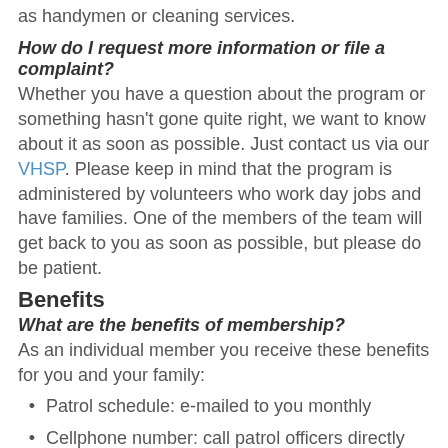as handymen or cleaning services.
How do I request more information or file a complaint?
Whether you have a question about the program or something hasn't gone quite right, we want to know about it as soon as possible. Just contact us via our VHSP. Please keep in mind that the program is administered by volunteers who work day jobs and have families. One of the members of the team will get back to you as soon as possible, but please do be patient.
Benefits
What are the benefits of membership?
As an individual member you receive these benefits for you and your family:
Patrol schedule: e-mailed to you monthly
Cellphone number: call patrol officers directly while on duty
Vacation house checks: officers stop at your home and check the perimeter of your property to ensure all is as it should be in your absence
Monthly newsletter: identifies recent crimes in